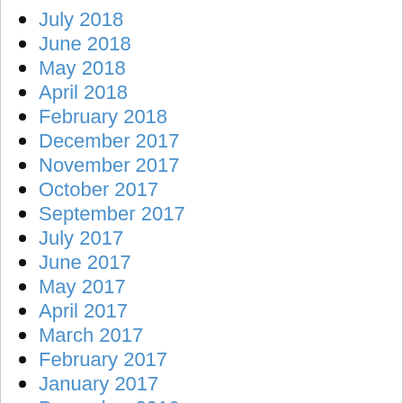July 2018
June 2018
May 2018
April 2018
February 2018
December 2017
November 2017
October 2017
September 2017
July 2017
June 2017
May 2017
April 2017
March 2017
February 2017
January 2017
December 2016
November 2016
October 2016